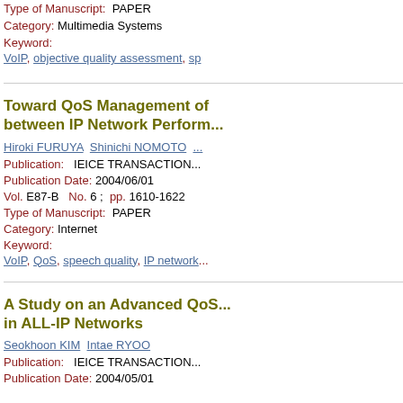Type of Manuscript: PAPER
Category: Multimedia Systems
Keyword:
VoIP, objective quality assessment, sp...
Toward QoS Management of between IP Network Perform...
Hiroki FURUYA Shinichi NOMOTO ...
Publication: IEICE TRANSACTION...
Publication Date: 2004/06/01
Vol. E87-B No. 6 ; pp. 1610-1622
Type of Manuscript: PAPER
Category: Internet
Keyword:
VoIP, QoS, speech quality, IP network...
A Study on an Advanced QoS... in ALL-IP Networks
Seokhoon KIM Intae RYOO
Publication: IEICE TRANSACTION...
Publication Date: 2004/05/01